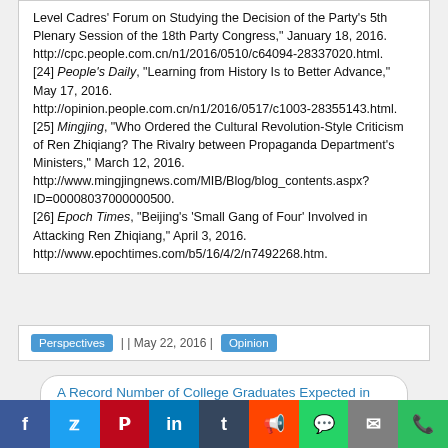Level Cadres' Forum on Studying the Decision of the Party's 5th Plenary Session of the 18th Party Congress," January 18, 2016. http://cpc.people.com.cn/n1/2016/0510/c64094-28337020.html.
[24] People's Daily, "Learning from History Is to Better Advance," May 17, 2016. http://opinion.people.com.cn/n1/2016/0517/c1003-28355143.html.
[25] Mingjing, "Who Ordered the Cultural Revolution-Style Criticism of Ren Zhiqiang? The Rivalry between Propaganda Department's Ministers," March 12, 2016. http://www.mingjingnews.com/MIB/Blog/blog_contents.aspx?ID=00008037000000500.
[26] Epoch Times, "Beijing's 'Small Gang of Four' Involved in Attacking Ren Zhiqiang," April 3, 2016. http://www.epochtimes.com/b5/16/4/2/n7492268.htm.
| | May 22, 2016 | Perspectives | Opinion
A Record Number of College Graduates Expected in 2016